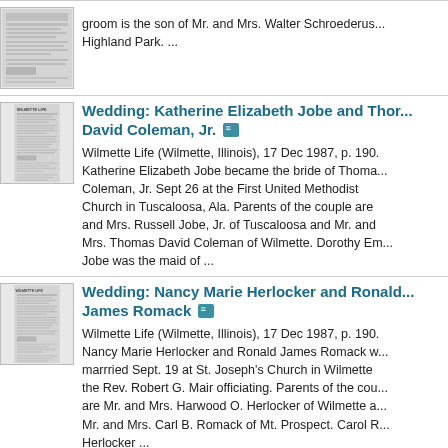groom is the son of Mr. and Mrs. Walter Schroederus... Highland Park. ...
Wedding: Katherine Elizabeth Jobe and Thomas David Coleman, Jr.
Wilmette Life (Wilmette, Illinois), 17 Dec 1987, p. 190. Katherine Elizabeth Jobe became the bride of Thomas Coleman, Jr. Sept 26 at the First United Methodist Church in Tuscaloosa, Ala. Parents of the couple are and Mrs. Russell Jobe, Jr. of Tuscaloosa and Mr. and Mrs. Thomas David Coleman of Wilmette. Dorothy Em... Jobe was the maid of ...
Wedding: Nancy Marie Herlocker and Ronald James Romack
Wilmette Life (Wilmette, Illinois), 17 Dec 1987, p. 190. Nancy Marie Herlocker and Ronald James Romack w... marrried Sept. 19 at St. Joseph's Church in Wilmette the Rev. Robert G. Mair officiating. Parents of the cou... are Mr. and Mrs. Harwood O. Herlocker of Wilmette a... Mr. and Mrs. Carl B. Romack of Mt. Prospect. Carol R... Herlocker ...
Obituary: Judith Johnson
Wilmette Life (Wilmette, Illinois), 3 Sep 1987, p. 187